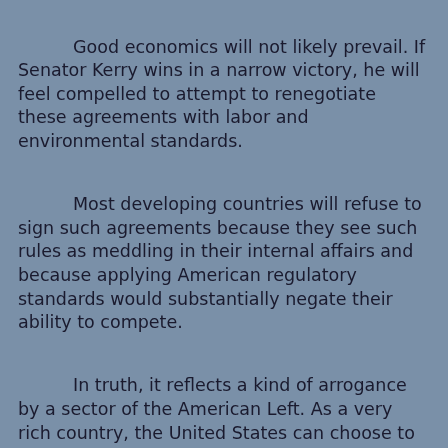Good economics will not likely prevail. If Senator Kerry wins in a narrow victory, he will feel compelled to attempt to renegotiate these agreements with labor and environmental standards.
Most developing countries will refuse to sign such agreements because they see such rules as meddling in their internal affairs and because applying American regulatory standards would substantially negate their ability to compete.
In truth, it reflects a kind of arrogance by a sector of the American Left. As a very rich country, the United States can choose to set all kinds of regulatory standards, but we weren't always rich and didn't always have those standards. It took the United States many stages of development to become rich enough to worry about these issues.
Those who propose requiring these high standards